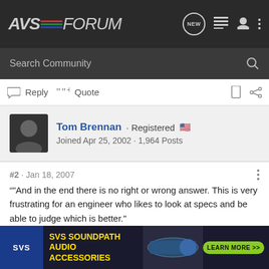AVSForum — navigation bar with logo, NEW button, list icon, user icon, more icon
Search Community
Reply  Quote
Tom Brennan · Registered 🇺🇸
Joined Apr 25, 2002 · 1,964 Posts
#2 · Jan 18, 2007
"And in the end there is no right or wrong answer. This is very frustrating for an engineer who likes to look at specs and be able to judge which is better."
Indeed, it's subjective, a matter of taste.
[Figure (illustration): SVS SoundPath Audio Accessories advertisement banner with yellow text on dark background and green LEARN MORE button]